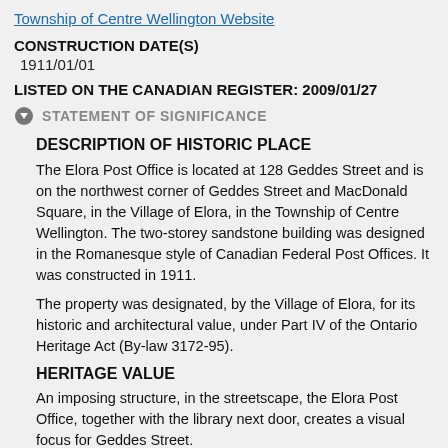Township of Centre Wellington Website
CONSTRUCTION DATE(S)
1911/01/01
LISTED ON THE CANADIAN REGISTER: 2009/01/27
STATEMENT OF SIGNIFICANCE
DESCRIPTION OF HISTORIC PLACE
The Elora Post Office is located at 128 Geddes Street and is on the northwest corner of Geddes Street and MacDonald Square, in the Village of Elora, in the Township of Centre Wellington. The two-storey sandstone building was designed in the Romanesque style of Canadian Federal Post Offices. It was constructed in 1911.
The property was designated, by the Village of Elora, for its historic and architectural value, under Part IV of the Ontario Heritage Act (By-law 3172-95).
HERITAGE VALUE
An imposing structure, in the streetscape, the Elora Post Office, together with the library next door, creates a visual focus for Geddes Street.